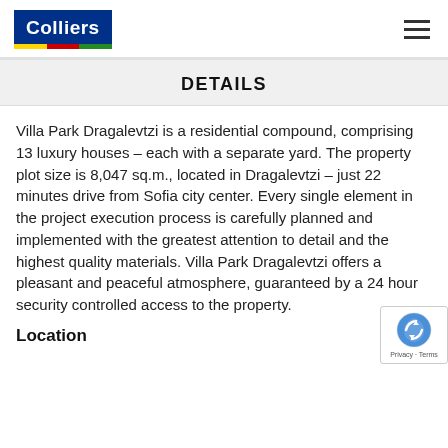[Figure (logo): Colliers company logo with blue background and colored stripe bar]
DETAILS
Villa Park Dragalevtzi is a residential compound, comprising 13 luxury houses – each with a separate yard. The property plot size is 8,047 sq.m., located in Dragalevtzi – just 22 minutes drive from Sofia city center. Every single element in the project execution process is carefully planned and implemented with the greatest attention to detail and the highest quality materials. Villa Park Dragalevtzi offers a pleasant and peaceful atmosphere, guaranteed by a 24 hour security controlled access to the property.
Location